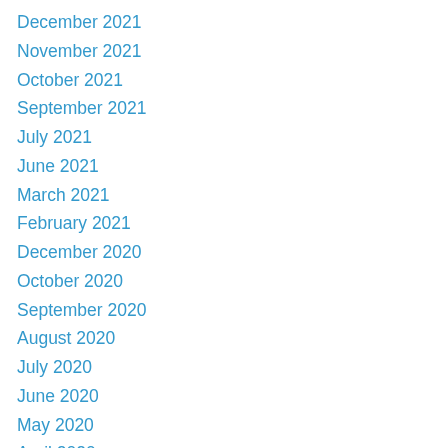December 2021
November 2021
October 2021
September 2021
July 2021
June 2021
March 2021
February 2021
December 2020
October 2020
September 2020
August 2020
July 2020
June 2020
May 2020
April 2020
March 2020
February 2020
January 2020
December 2019